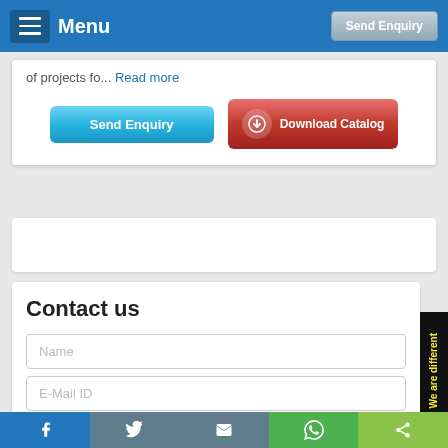Menu | Send Enquiry
of projects fo... Read more
[Figure (screenshot): Two buttons: 'Send Enquiry' (blue) and 'Download Catalog' (red with download icon)]
[Figure (screenshot): Empty white banner card]
Contact us
Name
E-Mail ID
(XXX) XXX-XXXX
Add Enquiry Details
[Figure (screenshot): Side tab with text 'We are different' rotated vertically on black background with yellow text]
Facebook | Twitter | Email | WhatsApp | Share